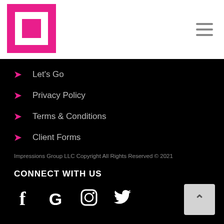[Figure (logo): Pink square logo with white inner square]
Let's Go
Privacy Policy
Terms & Conditions
Client Forms
CONNECT WITH US
[Figure (infographic): Social media icons: Facebook, Google, Instagram, Twitter]
Impressions Group LLC Copyright All Rights Reserved © 2021